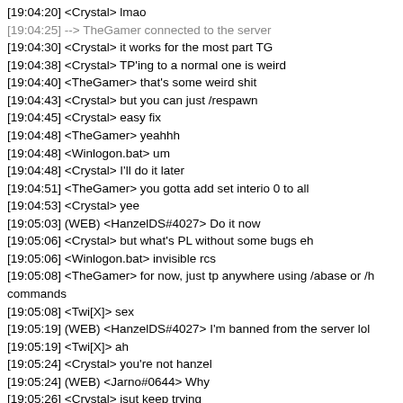[19:04:20] <Crystal> lmao
[19:04:25] --> TheGamer connected to the server
[19:04:30] <Crystal> it works for the most part TG
[19:04:38] <Crystal> TP'ing to a normal one is weird
[19:04:40] <TheGamer> that's some weird shit
[19:04:43] <Crystal> but you can just /respawn
[19:04:45] <Crystal> easy fix
[19:04:48] <TheGamer> yeahhh
[19:04:48] <Winlogon.bat> um
[19:04:48] <Crystal> I'll do it later
[19:04:51] <TheGamer> you gotta add set interio 0 to all
[19:04:53] <Crystal> yee
[19:05:03] (WEB) <HanzelDS#4027> Do it now
[19:05:06] <Crystal> but what's PL without some bugs eh
[19:05:06] <Winlogon.bat> invisible rcs
[19:05:08] <TheGamer> for now, just tp anywhere using /abase or /h commands
[19:05:08] <Twi[X]> sex
[19:05:19] (WEB) <HanzelDS#4027> I'm banned from the server lol
[19:05:19] <Twi[X]> ah
[19:05:24] <Crystal> you're not hanzel
[19:05:24] (WEB) <Jarno#0644> Why
[19:05:26] <Crystal> jsut keep trying
[19:05:29] <Twi[X]> this is nice
[19:05:36] <-- TheGamer disconnected from the server